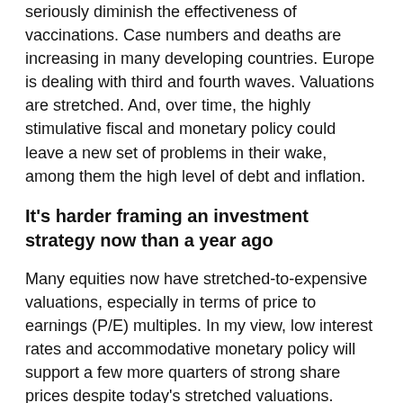seriously diminish the effectiveness of vaccinations. Case numbers and deaths are increasing in many developing countries. Europe is dealing with third and fourth waves. Valuations are stretched. And, over time, the highly stimulative fiscal and monetary policy could leave a new set of problems in their wake, among them the high level of debt and inflation.
It's harder framing an investment strategy now than a year ago
Many equities now have stretched-to-expensive valuations, especially in terms of price to earnings (P/E) multiples. In my view, low interest rates and accommodative monetary policy will support a few more quarters of strong share prices despite today's stretched valuations.
The combination of abundant liquidity, near-negligible interest rates and market momentum is producing froth, failure and over-pricing, including for digital currencies, Gamestop, Archegos, Tesla, and the huge gains investors now expect